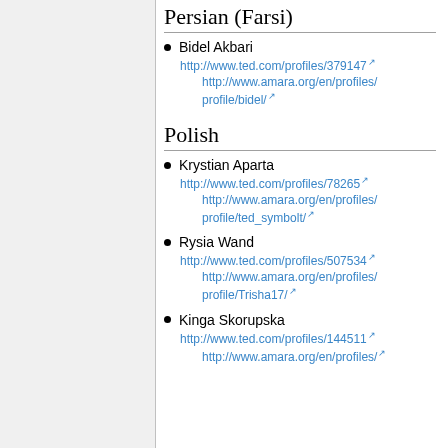Persian (Farsi)
Bidel Akbari
http://www.ted.com/profiles/379147
http://www.amara.org/en/profiles/profile/bidel/
Polish
Krystian Aparta
http://www.ted.com/profiles/78265
http://www.amara.org/en/profiles/profile/ted_symbolt/
Rysia Wand
http://www.ted.com/profiles/507534
http://www.amara.org/en/profiles/profile/Trisha17/
Kinga Skorupska
http://www.ted.com/profiles/144511
http://www.amara.org/en/profiles/